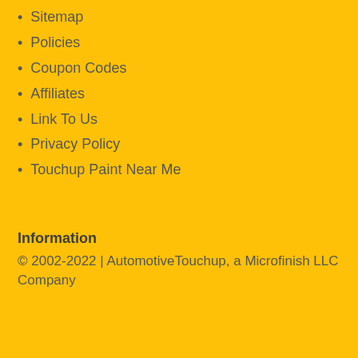Sitemap
Policies
Coupon Codes
Affiliates
Link To Us
Privacy Policy
Touchup Paint Near Me
Information
© 2002-2022 | AutomotiveTouchup, a Microfinish LLC Company